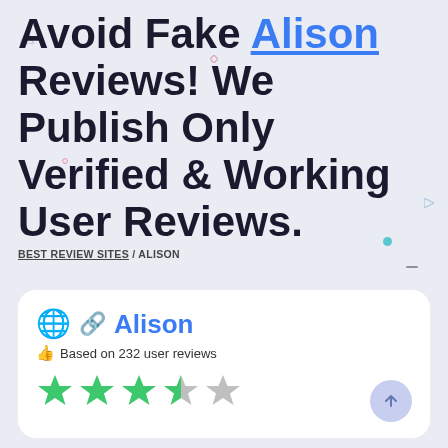Avoid Fake Alison Reviews! We Publish Only Verified & Working User Reviews.
BEST REVIEW SITES / ALISON
[Figure (infographic): Review card for Alison showing globe and link icons, site name 'Alison', 'Based on 232 user reviews' with thumbs up icon, and 3.5 out of 5 green star rating, plus a scroll-to-top button]
Alison — Based on 232 user reviews — 3.5 stars out of 5